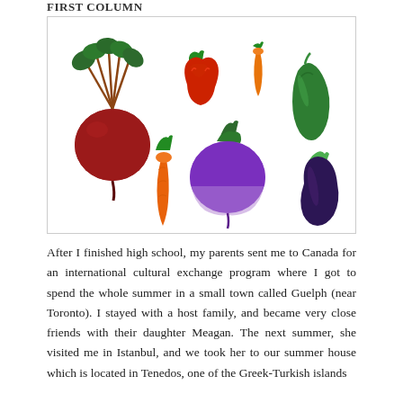FIRST COLUMN
[Figure (illustration): Colorful flat-design vegetable illustrations: a red beetroot with green leafy top, a red bell pepper, a small orange carrot (baby carrot), a green cucumber/zucchini, a larger orange carrot, a purple kohlrabi/turnip with green top, and a dark purple eggplant/aubergine with green stem.]
After I finished high school, my parents sent me to Canada for an international cultural exchange program where I got to spend the whole summer in a small town called Guelph (near Toronto). I stayed with a host family, and became very close friends with their daughter Meagan. The next summer, she visited me in Istanbul, and we took her to our summer house which is located in Tenedos, one of the Greek-Turkish islands